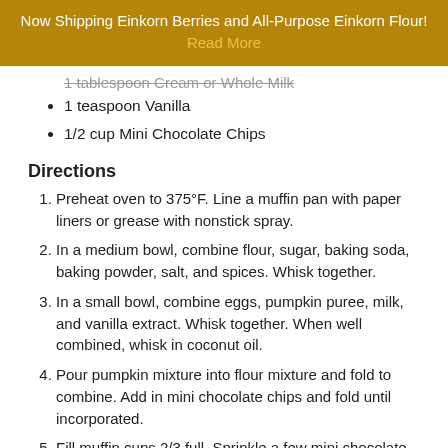Now Shipping Einkorn Berries and All-Purpose Einkorn Flour! Read More
1 tablespoon Cream or Whole Milk
1 teaspoon Vanilla
1/2 cup Mini Chocolate Chips
Directions
Preheat oven to 375°F. Line a muffin pan with paper liners or grease with nonstick spray.
In a medium bowl, combine flour, sugar, baking soda, baking powder, salt, and spices. Whisk together.
In a small bowl, combine eggs, pumpkin puree, milk, and vanilla extract. Whisk together. When well combined, whisk in coconut oil.
Pour pumpkin mixture into flour mixture and fold to combine. Add in mini chocolate chips and fold until incorporated.
Fill muffin cups 2/3 full. Sprinkle a few mini chocolate